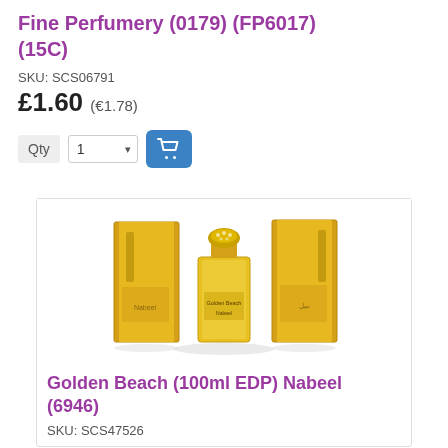Fine Perfumery (0179) (FP6017) (15C)
SKU: SCS06791
£1.60 (€1.78)
[Figure (screenshot): Quantity selector showing '1' with dropdown arrow and a blue shopping cart button]
[Figure (photo): Golden Beach 100ml EDP Nabeel perfume product - two golden rectangular boxes and a golden perfume bottle with crystal cap in the center]
Golden Beach (100ml EDP) Nabeel (6946)
SKU: SCS47526